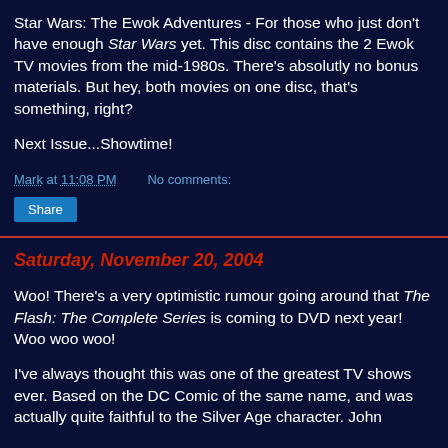Star Wars: The Ewok Adventures - For those who just don't have enough Star Wars yet. This disc contains the 2 Ewok TV movies from the mid-1980s. There's absolutly no bonus materials. But hey, both movies on one disc, that's something, right?
Next Issue...Showtime!
Mark at 11:08 PM    No comments:
Share
Saturday, November 20, 2004
Woo! There's a very optimistic rumour going around that The Flash: The Complete Series is coming to DVD next year! Woo woo woo!
I've always thought this was one of the greatest TV shows ever. Based on the DC Comic of the same name, and was actually quite faithful to the Silver Age character. John